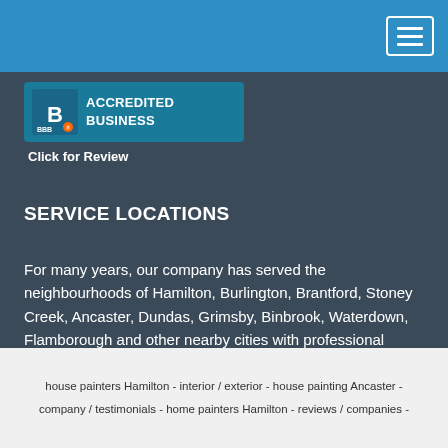Navigation bar with hamburger menu
[Figure (logo): BBB Accredited Business badge with BBB logo and text 'ACCREDITED BUSINESS', followed by 'Click for Review' link]
SERVICE LOCATIONS
For many years, our company has served the neighbourhoods of Hamilton, Burlington, Brantford, Stoney Creek, Ancaster, Dundas, Grimsby, Binbrook, Waterdown, Flamborough and other nearby cities with professional house painting and commercial painting solutions.
house painters Hamilton - interior / exterior - house painting Ancaster - company / testimonials - home painters Hamilton - reviews / companies -